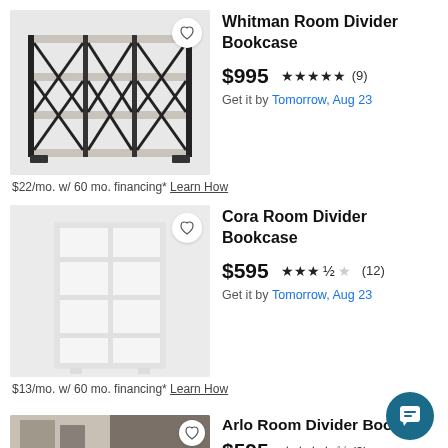[Figure (photo): Whitman Room Divider Bookcase product image - industrial style open bookcase with black metal X-cross frame and grey shelves]
Whitman Room Divider Bookcase
$995  ★★★★★ (9)
Get it by Tomorrow, Aug 23
$22/mo. w/ 60 mo. financing* Learn How
[Figure (photo): Cora Room Divider Bookcase product image - white rectangular bookcase with grid shelves]
Cora Room Divider Bookcase
$595  ★★★½☆ (12)
Get it by Tomorrow, Aug 23
$13/mo. w/ 60 mo. financing* Learn How
[Figure (photo): Arlo Room Divider Bookcase product image - partial view at bottom of page]
Arlo Room Divider Boo...
$595  ★★★★½ (3)